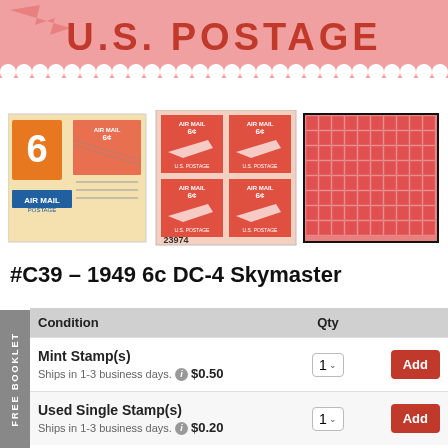[Figure (photo): U.S. Postage stamp banner with red text on pink perforated stamp background]
[Figure (photo): Three philatelic images: a first day cover with 6c Air Mail stamp, a plate block of four 6c Air Mail DC-4 Skymaster stamps numbered 23974, and a full sheet of 6c Air Mail stamps]
#C39 – 1949 6c DC-4 Skymaster
| Condition | Qty |  |
| --- | --- | --- |
| Mint Stamp(s)
Ships in 1-3 business days.  $0.50 | 1 | Add |
| Used Single Stamp(s)
Ships in 1-3 business days.  $0.20 | 1 | Add |